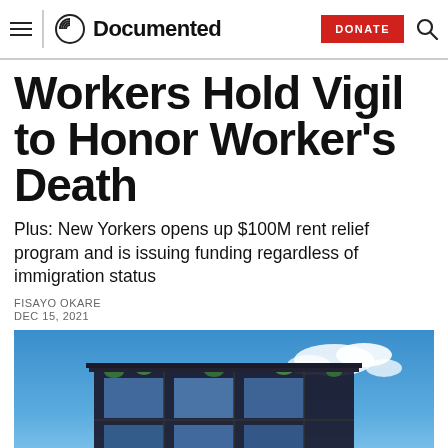Documented
Workers Hold Vigil to Honor Worker's Death
Plus: New Yorkers opens up $100M rent relief program and is issuing funding regardless of immigration status
FISAYO OKARE
DEC 15, 2021
[Figure (photo): Photograph of a building facade with a blue sky and clouds in the background, featuring a dark industrial-style structure with greenery on the upper levels.]